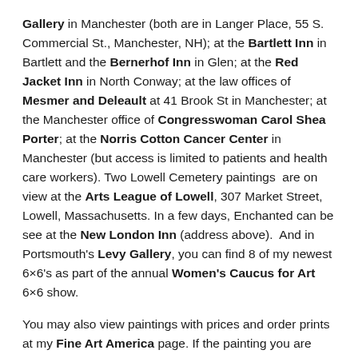Gallery in Manchester (both are in Langer Place, 55 S. Commercial St., Manchester, NH); at the Bartlett Inn in Bartlett and the Bernerhof Inn in Glen; at the Red Jacket Inn in North Conway; at the law offices of Mesmer and Deleault at 41 Brook St in Manchester; at the Manchester office of Congresswoman Carol Shea Porter; at the Norris Cotton Cancer Center in Manchester (but access is limited to patients and health care workers). Two Lowell Cemetery paintings  are on view at the Arts League of Lowell, 307 Market Street, Lowell, Massachusetts. In a few days, Enchanted can be see at the New London Inn (address above).  And in Portsmouth's Levy Gallery, you can find 8 of my newest 6×6's as part of the annual Women's Caucus for Art 6×6 show.
You may also view paintings with prices and order prints at my Fine Art America page. If the painting you are